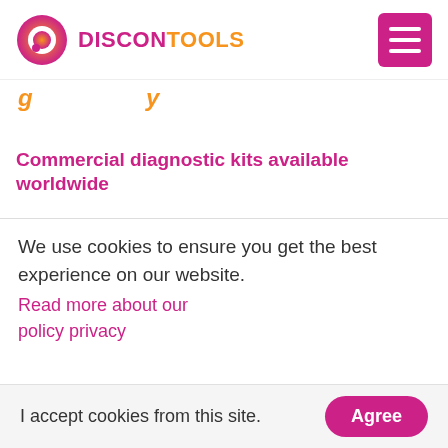DISCONTOOLS (logo with menu button)
g y
Commercial diagnostic kits available worldwide
We use cookies to ensure you get the best experience on our website.
Read more about our policy privacy
I accept cookies from this site. Agree